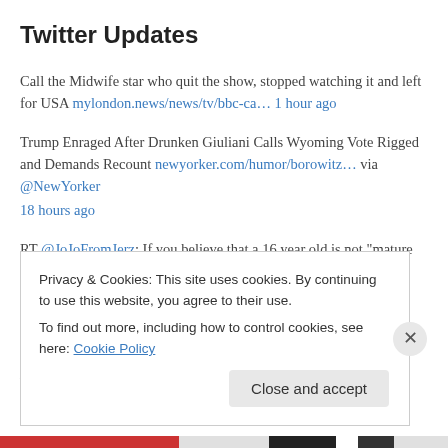Twitter Updates
Call the Midwife star who quit the show, stopped watching it and left for USA mylondon.news/news/tv/bbc-ca… 1 hour ago
Trump Enraged After Drunken Giuliani Calls Wyoming Vote Rigged and Demands Recount newyorker.com/humor/borowitz... via @NewYorker 18 hours ago
RT @JoJoFromJerz: If you believe that a 16 year old is not "mature enough" to have an abortion but that she is "mature enough" to be forced… 1 day ago
Robert De Niro to Play Dual Roles in Barry Levinson Mafia Drama 'Wise
Privacy & Cookies: This site uses cookies. By continuing to use this website, you agree to their use.
To find out more, including how to control cookies, see here: Cookie Policy